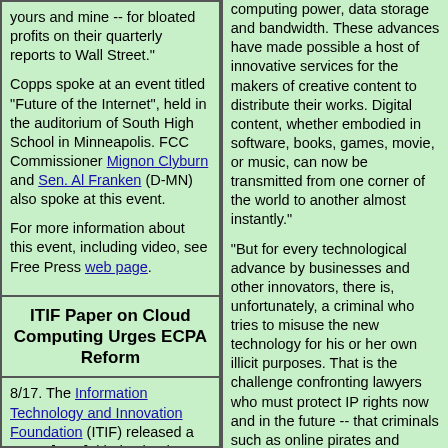yours and mine -- for bloated profits on their quarterly reports to Wall Street."
Copps spoke at an event titled "Future of the Internet", held in the auditorium of South High School in Minneapolis. FCC Commissioner Mignon Clyburn and Sen. Al Franken (D-MN) also spoke at this event.
For more information about this event, including video, see Free Press web page.
ITIF Paper on Cloud Computing Urges ECPA Reform
8/17. The Information Technology and Innovation Foundation (ITIF) released a paper [PDF] titled "Cloud Computing...
computing power, data storage and bandwidth. These advances have made possible a host of innovative services for the makers of creative content to distribute their works. Digital content, whether embodied in software, books, games, movie, or music, can now be transmitted from one corner of the world to another almost instantly."
"But for every technological advance by businesses and other innovators, there is, unfortunately, a criminal who tries to misuse the new technology for his or her own illicit purposes. That is the challenge confronting lawyers who must protect IP rights now and in the future -- that criminals such as online pirates and others have been every bit as nimble in adopting new